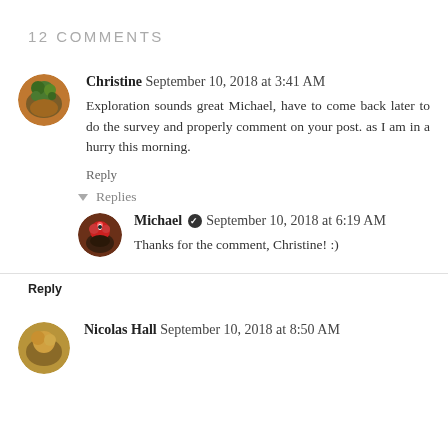12 COMMENTS
Christine September 10, 2018 at 3:41 AM
Exploration sounds great Michael, have to come back later to do the survey and properly comment on your post. as I am in a hurry this morning.
Reply
▾ Replies
Michael ✓ September 10, 2018 at 6:19 AM
Thanks for the comment, Christine! :)
Reply
Nicolas Hall September 10, 2018 at 8:50 AM